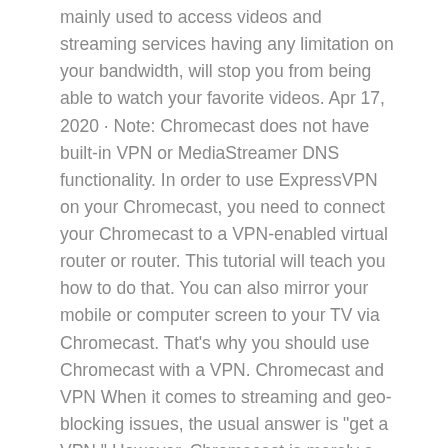mainly used to access videos and streaming services having any limitation on your bandwidth, will stop you from being able to watch your favorite videos. Apr 17, 2020 · Note: Chromecast does not have built-in VPN or MediaStreamer DNS functionality. In order to use ExpressVPN on your Chromecast, you need to connect your Chromecast to a VPN-enabled virtual router or router. This tutorial will teach you how to do that. You can also mirror your mobile or computer screen to your TV via Chromecast. That's why you should use Chromecast with a VPN. Chromecast and VPN When it comes to streaming and geo-blocking issues, the usual answer is "get a VPN." However, Chromecast is merely a receiver that accepts signals from apps that support the Google Cast protocol. The dongle itself is dumb as a brick.
Jun 05, 2019 · How To Use Chromecast While VPN Is Active? Last modified: June 5, 2019. Unfortunately, the Chromecast does not